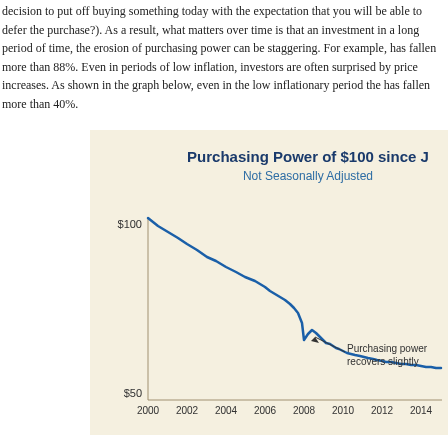decision to put off buying something today with the expectation that you will be able to defer the purchase?). As a result, what matters over time is that an investment in a long period of time, the erosion of purchasing power can be staggering. For example, has fallen more than 88%. Even in periods of low inflation, investors are often surprised by price increases. As shown in the graph below, even in the low inflationary period the purchasing power has fallen more than 40%.
[Figure (continuous-plot): Line chart showing the purchasing power of $100 declining from $100 in 2000 to approximately $57 by 2014+. Not Seasonally Adjusted. The line trends downward with a slight recovery noted around 2008-2009, annotated 'Purchasing power recovers slightly'.]